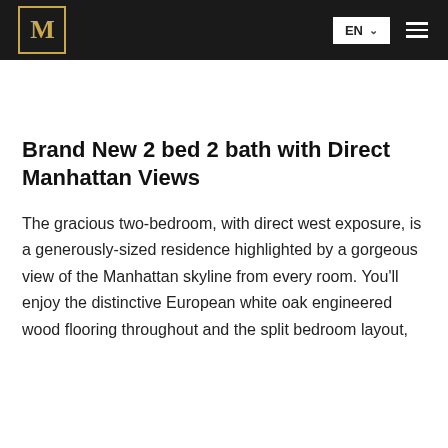[Figure (logo): M logo in gold on dark background with gold border, navigation bar with EN language selector and hamburger menu]
[Figure (illustration): Social sharing icons: Facebook (f), Twitter (bird), LinkedIn (in) on grey background]
Brand New 2 bed 2 bath with Direct Manhattan Views
The gracious two-bedroom, with direct west exposure, is a generously-sized residence highlighted by a gorgeous view of the Manhattan skyline from every room. You'll enjoy the distinctive European white oak engineered wood flooring throughout and the split bedroom layout,